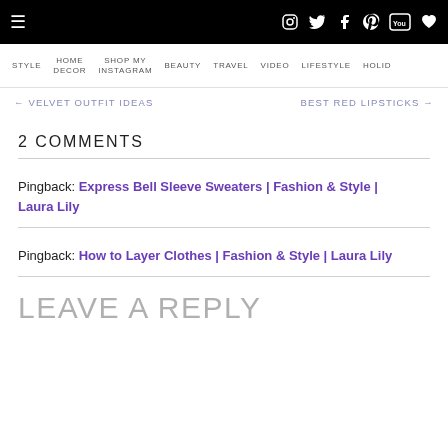≡ [social icons] instagram twitter facebook pinterest youtube heart
STYLE | HOME DECOR | SHOP MY INSTAGRAM | BEAUTY | TRAVEL | VIDEO | LIFESTYLE | HOLID…
← VELVET OUTFIT IDEAS     BEST RED LIPSTICKS →
2 COMMENTS
Pingback: Express Bell Sleeve Sweaters | Fashion & Style | Laura Lily
Pingback: How to Layer Clothes | Fashion & Style | Laura Lily
LEAVE A REPLY